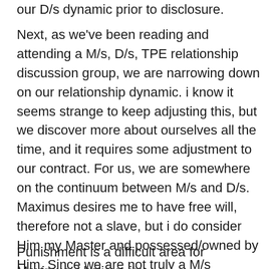our D/s dynamic prior to disclosure.
Next, as we've been reading and attending a M/s, D/s, TPE relationship discussion group, we are narrowing down on our relationship dynamic. i know it seems strange to keep adjusting this, but we discover more about ourselves all the time, and it requires some adjustment to our contract. For us, we are somewhere on the continuum between M/s and D/s. Maximus desires me to have free will, therefore not a slave, but i do consider Him my Master and possessed/owned by Him. Since we are not truly a M/s dynamic, we are changing all references from M/s to D/s. Does it change our relationship? No. It simply is a clerical change as not to misconstrue our dynamic when others read our contract.
Punishment is a difficult area for Maximus. i believe i've